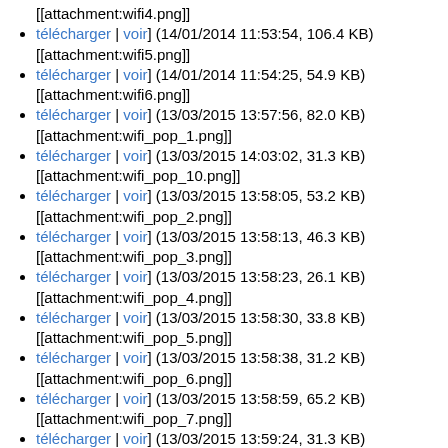[[attachment:wifi4.png]]
[télécharger | voir] (14/01/2014 11:53:54, 106.4 KB) [[attachment:wifi5.png]]
[télécharger | voir] (14/01/2014 11:54:25, 54.9 KB) [[attachment:wifi6.png]]
[télécharger | voir] (13/03/2015 13:57:56, 82.0 KB) [[attachment:wifi_pop_1.png]]
[télécharger | voir] (13/03/2015 14:03:02, 31.3 KB) [[attachment:wifi_pop_10.png]]
[télécharger | voir] (13/03/2015 13:58:05, 53.2 KB) [[attachment:wifi_pop_2.png]]
[télécharger | voir] (13/03/2015 13:58:13, 46.3 KB) [[attachment:wifi_pop_3.png]]
[télécharger | voir] (13/03/2015 13:58:23, 26.1 KB) [[attachment:wifi_pop_4.png]]
[télécharger | voir] (13/03/2015 13:58:30, 33.8 KB) [[attachment:wifi_pop_5.png]]
[télécharger | voir] (13/03/2015 13:58:38, 31.2 KB) [[attachment:wifi_pop_6.png]]
[télécharger | voir] (13/03/2015 13:58:59, 65.2 KB) [[attachment:wifi_pop_7.png]]
[télécharger | voir] (13/03/2015 13:59:24, 31.3 KB) [[attachment:wifi_pop_7_1.png]]
[télécharger | voir] (13/03/2015 14:02:24, 50.1 KB) [[attachment:wifi_pop_8.png]]